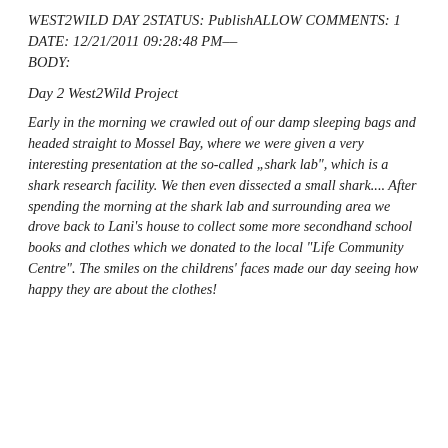WEST2WILD DAY 2STATUS: PublishALLOW COMMENTS: 1 DATE: 12/21/2011 09:28:48 PM–– BODY:
Day 2 West2Wild Project
Early in the morning we crawled out of our damp sleeping bags and headed straight to Mossel Bay, where we were given a very interesting presentation at the so-called „shark lab", which is a shark research facility. We then even dissected a small shark.... After spending the morning at the shark lab and surrounding area we drove back to Lani’s house to collect some more secondhand school books and clothes which we donated to the local “Life Community Centre”. The smiles on the childrens’ faces made our day seeing how happy they are about the clothes!